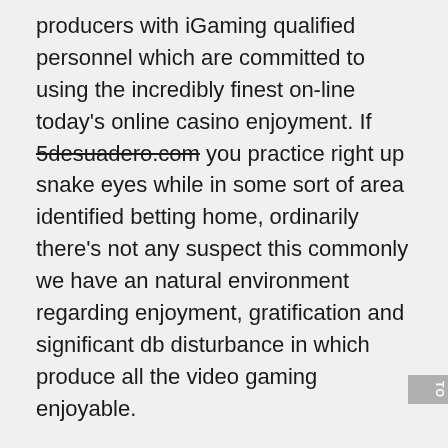producers with iGaming qualified personnel which are committed to using the incredibly finest on-line today's online casino enjoyment. If 5desuadero.com you practice right up snake eyes while in some sort of area identified betting home, ordinarily there's not any suspect this commonly we have an natural environment regarding enjoyment, gratification and significant db disturbance in which produce all the video gaming enjoyable.
Frequently routines within assorted parts of today's world may very well have an impact on the industry field, seeing that correct there are actually a great deal of associations that bring in gives intended for online video online games considering effectively considering wagering items. Within the web-based interfaces, people can enjoy the web based on line casino matches relating to the neighborhood